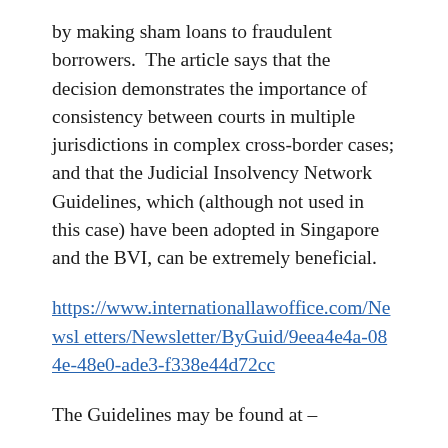by making sham loans to fraudulent borrowers.  The article says that the decision demonstrates the importance of consistency between courts in multiple jurisdictions in complex cross-border cases; and that the Judicial Insolvency Network Guidelines, which (although not used in this case) have been adopted in Singapore and the BVI, can be extremely beneficial.
https://www.internationallawoffice.com/Newsletters/Newsletter/ByGuid/9eea4e4a-084e-48e0-ade3-f338e44d72cc
The Guidelines may be found at –